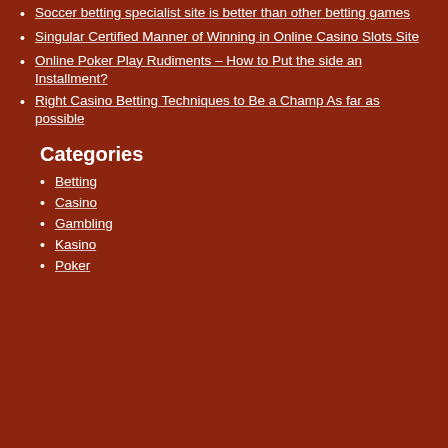Soccer betting specialist site is better than other betting games
Singular Certified Manner of Winning in Online Casino Slots Site
Online Poker Play Rudiments – How to Put the side an Installment?
Right Casino Betting Techniques to Be a Champ As far as possible
Categories
Betting
Casino
Gambling
Kasino
Poker